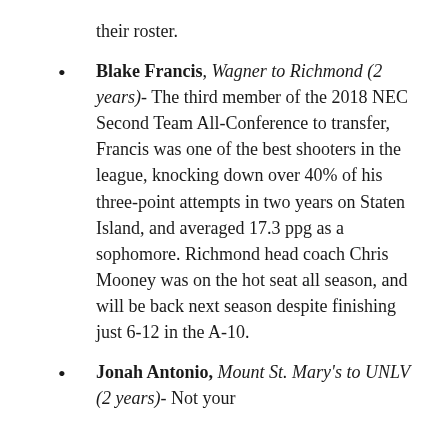their roster.
Blake Francis, Wagner to Richmond (2 years)- The third member of the 2018 NEC Second Team All-Conference to transfer, Francis was one of the best shooters in the league, knocking down over 40% of his three-point attempts in two years on Staten Island, and averaged 17.3 ppg as a sophomore. Richmond head coach Chris Mooney was on the hot seat all season, and will be back next season despite finishing just 6-12 in the A-10.
Jonah Antonio, Mount St. Mary's to UNLV (2 years)- Not your